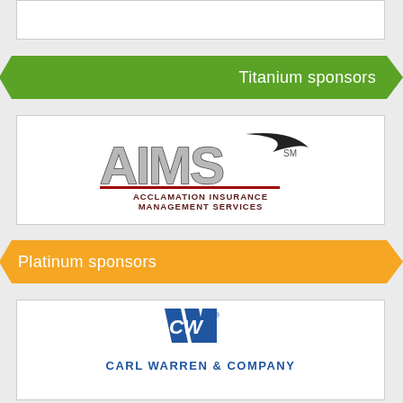[Figure (other): Empty white box at top of page (partial content from previous section)]
Titanium sponsors
[Figure (logo): AIMS - Acclamation Insurance Management Services logo]
Platinum sponsors
[Figure (logo): Carl Warren & Company logo (partial, cut off at bottom)]